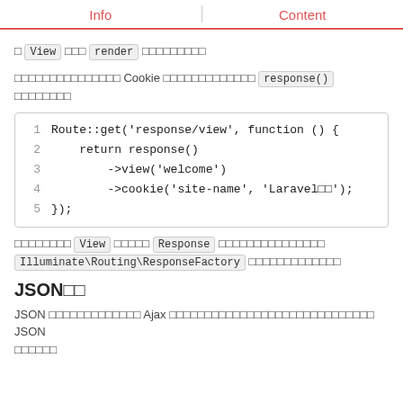Info  Content
□ View □□□ render □□□□□□□□□
□□□□□□□□□□□□□□□ Cookie □□□□□□□□□□□□□ response() □□□□□□□□
[Figure (screenshot): Code block showing PHP route with response()->view('welcome')->cookie('site-name', 'Laravel□□');]
□□□□□□□□ View □□□□□ Response □□□□□□□□□□□□□□□ Illuminate\Routing\ResponseFactory □□□□□□□□□□□□□
JSON□□
JSON □□□□□□□□□□□□□ Ajax □□□□□□□□□□□□□□□□□□□□□□□□□□□□□ JSON □□□□□□